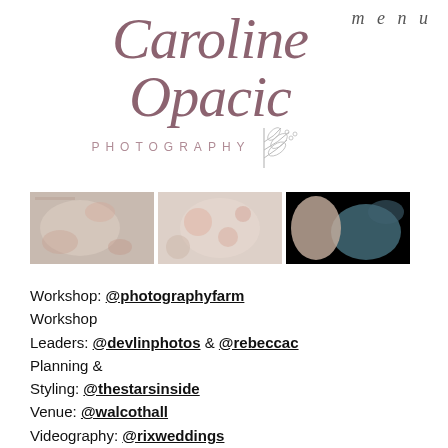menu
[Figure (logo): Caroline Opacic Photography logo with script text and botanical leaf illustration]
[Figure (photo): Three horizontal photo thumbnails showing floral/wedding styled shoot details]
Workshop: @photographyfarm
Workshop
Leaders: @devlinphotos & @rebeccac
Planning &
Styling: @thestarsinside
Venue: @walcothall
Videography: @rixweddings
Bridalwear: @bertaprivee@janehillbric
Willow Victoria